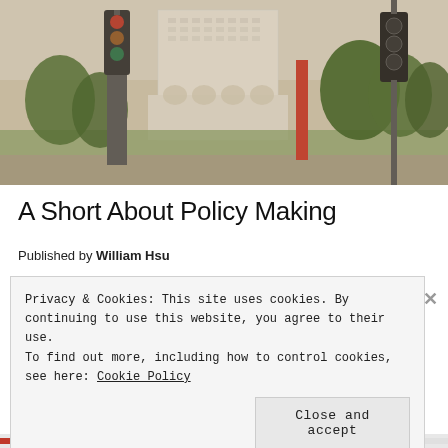[Figure (photo): Street-level photograph of a large white government building (likely Los Angeles City Hall) with a lawn, trees, traffic lights, and a red vertical sculpture in the foreground under a partly cloudy sky.]
A Short About Policy Making
Published by William Hsu
Privacy & Cookies: This site uses cookies. By continuing to use this website, you agree to their use.
To find out more, including how to control cookies, see here: Cookie Policy
Close and accept